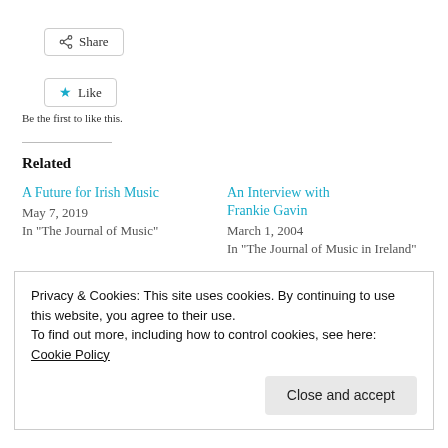[Figure (other): Share button with share icon]
[Figure (other): Like button with star icon]
Be the first to like this.
Related
A Future for Irish Music
May 7, 2019
In "The Journal of Music"
An Interview with Frankie Gavin
March 1, 2004
In "The Journal of Music in Ireland"
Raidió na (Teddy...
Privacy & Cookies: This site uses cookies. By continuing to use this website, you agree to their use.
To find out more, including how to control cookies, see here: Cookie Policy
[Figure (other): Close and accept button]